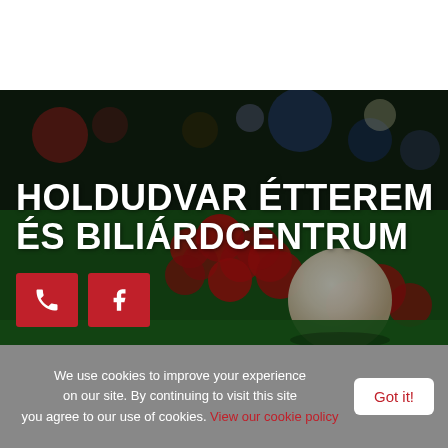[Figure (photo): Billiard table with a white cue ball in the foreground and red balls blurred in the background, on a green felt surface with blurred colorful bokeh lights in the background]
HOLDUDVAR ÉTTEREM ÉS BILIÁRDCENTRUM
We use cookies to improve your experience on our site. By continuing to visit this site you agree to our use of cookies. View our cookie policy